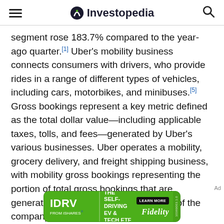Investopedia
segment rose 183.7% compared to the year-ago quarter.[1] Uber's mobility business connects consumers with drivers, who provide rides in a range of different types of vehicles, including cars, motorbikes, and minibuses.[5] Gross bookings represent a key metric defined as the total dollar value—including applicable taxes, tolls, and fees—generated by Uber's various businesses. Uber operates a mobility, grocery delivery, and freight shipping business, with mobility gross bookings representing the portion of total gross bookings that are generated by the ride-sharing segment of the company's operations.[6]
[Figure (other): IDRV FROM iSHARES advertisement banner for The Self-Driving EV & Tech ETF with Fidelity branding and Learn More button]